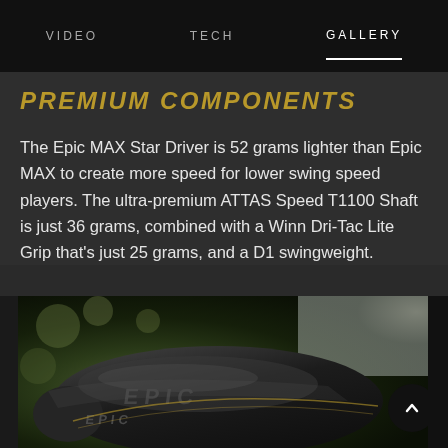VIDEO   TECH   GALLERY
PREMIUM COMPONENTS
The Epic MAX Star Driver is 52 grams lighter than Epic MAX to create more speed for lower swing speed players. The ultra-premium ATTAS Speed T1100 Shaft is just 36 grams, combined with a Winn Dri-Tac Lite Grip that's just 25 grams, and a D1 swingweight.
[Figure (photo): Close-up photograph of a black Callaway Epic MAX Star golf driver head showing the crown with Epic branding]